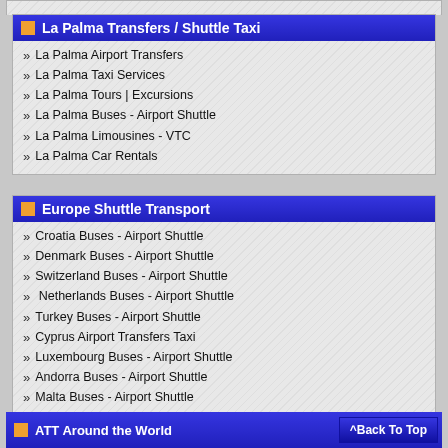La Palma Transfers / Shuttle Taxi
La Palma Airport Transfers
La Palma Taxi Services
La Palma Tours | Excursions
La Palma Buses - Airport Shuttle
La Palma Limousines - VTC
La Palma Car Rentals
Europe Shuttle Transport
Croatia Buses - Airport Shuttle
Denmark Buses - Airport Shuttle
Switzerland Buses - Airport Shuttle
Netherlands Buses - Airport Shuttle
Turkey Buses - Airport Shuttle
Cyprus Airport Transfers Taxi
Luxembourg Buses - Airport Shuttle
Andorra Buses - Airport Shuttle
Malta Buses - Airport Shuttle
Monaco Buses - Airport Shuttle
Vatican City Buses - Airport Shuttle
Yugoslavia Buses - Airport Shuttle
ATT Around the World